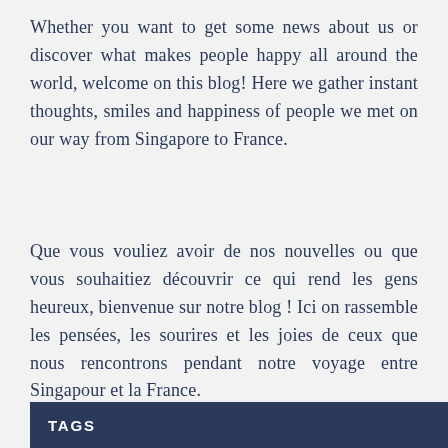Whether you want to get some news about us or discover what makes people happy all around the world, welcome on this blog! Here we gather instant thoughts, smiles and happiness of people we met on our way from Singapore to France.
Que vous vouliez avoir de nos nouvelles ou que vous souhaitiez découvrir ce qui rend les gens heureux, bienvenue sur notre blog ! Ici on rassemble les pensées, les sourires et les joies de ceux que nous rencontrons pendant notre voyage entre Singapour et la France.
TAGS